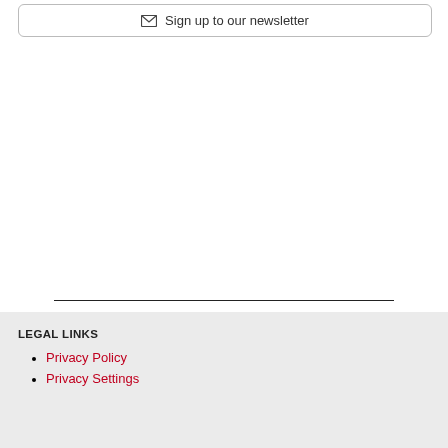Sign up to our newsletter
LEGAL LINKS
Privacy Policy
Privacy Settings